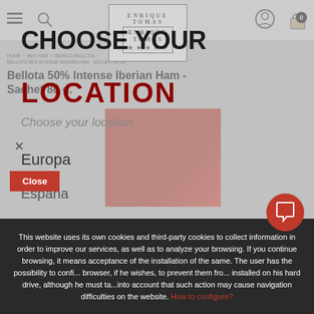HOME › BUY HAM › IBERICO BELLOTA > BELLOTA 50% INTENSE IBERIAN HAM - SACHET 80 GR
Bellota 50% Intense Iberian Ham - Sachet 80 g.
CHOOSE YOUR LOCATION
Choose your location
Europa
España
This website uses its own cookies and third-party cookies to collect information in order to improve our services, as well as to analyze your browsing. If you continue browsing, it means acceptance of the installation of the same. The user has the possibility to configure his browser, if he wishes, to prevent them from being installed on his hard drive, although he must take into account that such action may cause navigation difficulties on the website. How to configure?